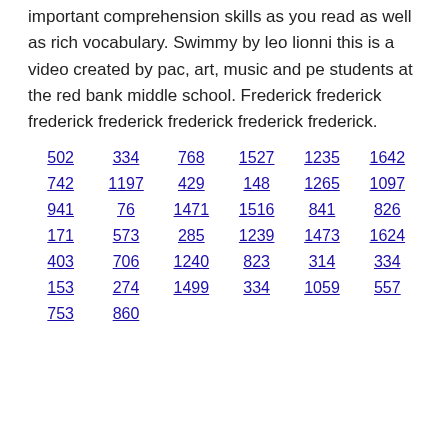important comprehension skills as you read as well as rich vocabulary. Swimmy by leo lionni this is a video created by pac, art, music and pe students at the red bank middle school. Frederick frederick frederick frederick frederick frederick frederick.
502  334  768  1527  1235  1642
742  1197  429  148  1265  1097
941  76  1471  1516  841  826
171  573  285  1239  1473  1624
403  706  1240  823  314  334
153  274  1499  334  1059  557
753  860